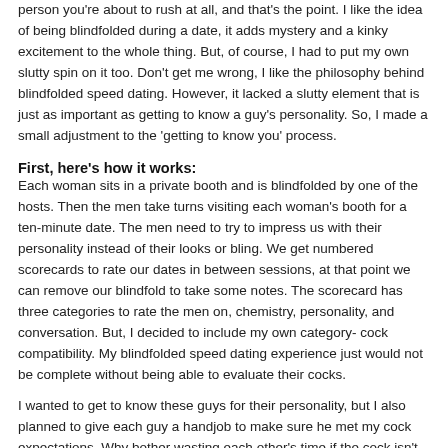person you're about to rush at all, and that's the point. I like the idea of being blindfolded during a date, it adds mystery and a kinky excitement to the whole thing. But, of course, I had to put my own slutty spin on it too. Don't get me wrong, I like the philosophy behind blindfolded speed dating. However, it lacked a slutty element that is just as important as getting to know a guy's personality. So, I made a small adjustment to the 'getting to know you' process.
First, here's how it works:
Each woman sits in a private booth and is blindfolded by one of the hosts. Then the men take turns visiting each woman's booth for a ten-minute date. The men need to try to impress us with their personality instead of their looks or bling. We get numbered scorecards to rate our dates in between sessions, at that point we can remove our blindfold to take some notes. The scorecard has three categories to rate the men on, chemistry, personality, and conversation. But, I decided to include my own category- cock compatibility. My blindfolded speed dating experience just would not be complete without being able to evaluate their cocks.
I wanted to get to know these guys for their personality, but I also planned to give each guy a handjob to make sure he met my cock expectations. Why bother wasting each other's time if the cock isn't up to par, right? After all, sex compatibility is